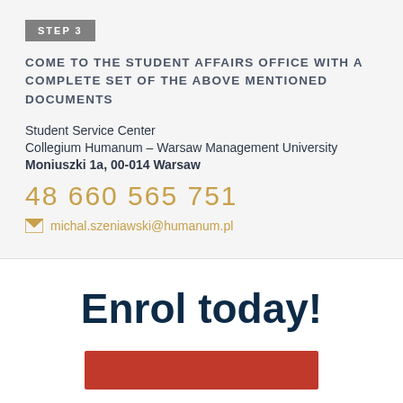STEP 3
COME TO THE STUDENT AFFAIRS OFFICE WITH A COMPLETE SET OF THE ABOVE MENTIONED DOCUMENTS
Student Service Center
Collegium Humanum – Warsaw Management University
Moniuszki 1a, 00-014 Warsaw
48 660 565 751
michal.szeniawski@humanum.pl
Enrol today!